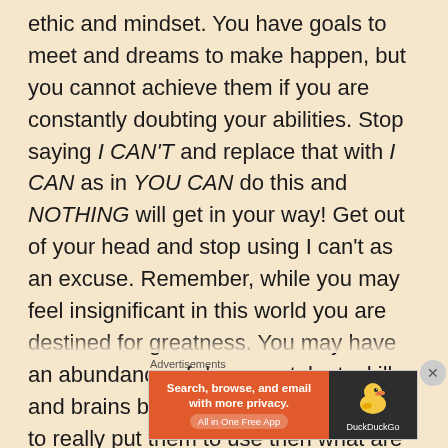ethic and mindset. You have goals to meet and dreams to make happen, but you cannot achieve them if you are constantly doubting your abilities. Stop saying I CAN'T and replace that with I CAN as in YOU CAN do this and NOTHING will get in your way! Get out of your head and stop using I can't as an excuse. Remember, while you may feel insignificant in this world you are destined for greatness. You may have an abundance of degrees, talent, skills and brains but if you don't take the time to really put them to use then what are you doing? We are our own worst enemies when it comes to taking chances in life
Advertisements
[Figure (other): DuckDuckGo advertisement banner: orange background with text 'Search, browse, and email with more privacy. All in One Free App' on the left, and DuckDuckGo logo with duck icon on dark background on the right.]